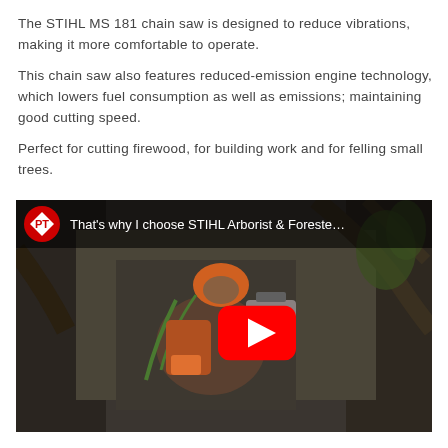The STIHL MS 181 chain saw is designed to reduce vibrations, making it more comfortable to operate.
This chain saw also features reduced-emission engine technology, which lowers fuel consumption as well as emissions; maintaining good cutting speed.
Perfect for cutting firewood, for building work and for felling small trees.
[Figure (screenshot): YouTube video embed showing an arborist climbing a tree with STIHL equipment. Video title reads 'That's why I choose STIHL Arborist & Forester'. A red YouTube play button is centered on the thumbnail. Channel logo (PT Primes) is in the top-left corner.]